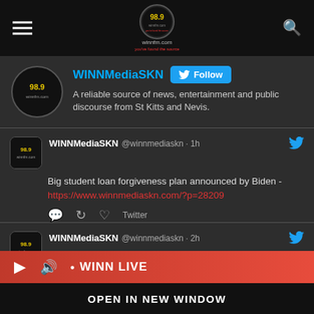winnfm.com
WINNMediaSKN Follow
A reliable source of news, entertainment and public discourse from St Kitts and Nevis.
WINNMediaSKN @winnmediaskn · 1h
Big student loan forgiveness plan announced by Biden - https://www.winnmediaskn.com/?p=28209
Twitter
WINNMediaSKN @winnmediaskn · 2h
Dept. of Gender Affairs urges Nevisian girls to face...
https://www...
Twitter
▶  🔊  ● WINN LIVE
OPEN IN NEW WINDOW